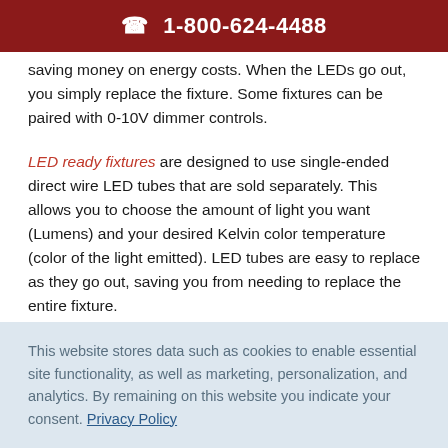1-800-624-4488
saving money on energy costs. When the LEDs go out, you simply replace the fixture. Some fixtures can be paired with 0-10V dimmer controls.
LED ready fixtures are designed to use single-ended direct wire LED tubes that are sold separately. This allows you to choose the amount of light you want (Lumens) and your desired Kelvin color temperature (color of the light emitted). LED tubes are easy to replace as they go out, saving you from needing to replace the entire fixture.
If you are looking for fixtures that don’t have a high upfront
This website stores data such as cookies to enable essential site functionality, as well as marketing, personalization, and analytics. By remaining on this website you indicate your consent. Privacy Policy